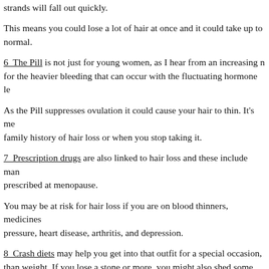strands will fall out quickly.
This means you could lose a lot of hair at once and it could take up to [months] normal.
6  The Pill is not just for young women, as I hear from an increasing n[umber]... for the heavier bleeding that can occur with the fluctuating hormone le[vels]...
As the Pill suppresses ovulation it could cause your hair to thin. It's mo[re likely if you have a] family history of hair loss or when you stop taking it.
7  Prescription drugs are also linked to hair loss and these include man[y drugs] prescribed at menopause.
You may be at risk for hair loss if you are on blood thinners, medicines[for blood] pressure, heart disease, arthritis, and depression.
8  Crash diets may help you get into that outfit for a special occasion,[ but you lose more] than weight. If you lose a stone or more, you might also shed some hai[r]...
The good news is that it will usually return when you're back on a hea[lthy diet].
You might want to also be aware...